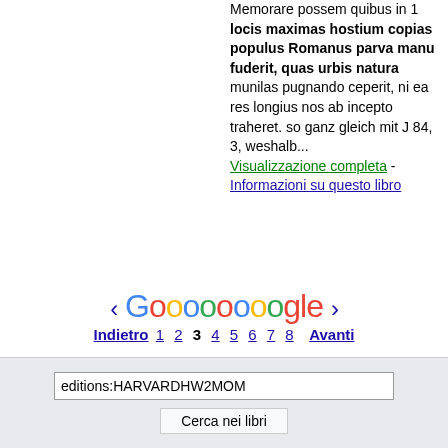Memorare possem quibus in 1 locis maximas hostium copias populus Romanus parva manu fuderit, quas urbis natura munilas pugnando ceperit, ni ea res longius nos ab incepto traheret. so ganz gleich mit J 84, 3, weshalb...
Visualizzazione completa - Informazioni su questo libro
[Figure (other): Google pagination: < Gooooooooogle > with page numbers Indietro 1 2 3 4 5 6 7 8 Avanti]
editions:HARVARDHW2MOM
Cerca nei libri